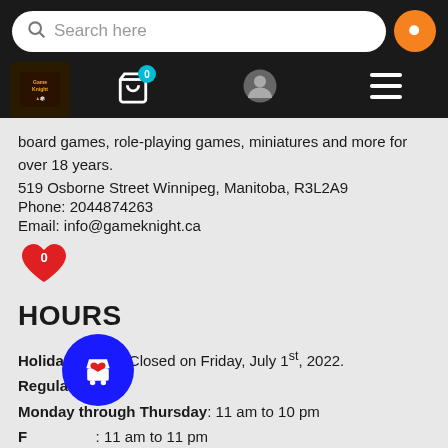[Figure (screenshot): Mobile website header with search bar, logo, cart icon with 0 badge, user icon, and hamburger menu on black background]
board games, role-playing games, miniatures and more for over 18 years.
519 Osborne Street Winnipeg, Manitoba, R3L2A9
Phone: 2044874263
Email: info@gameknight.ca
[Figure (other): Red heart icon with 0 badge]
HOURS
Holiday Hours: Closed on Friday, July 1st, 2022.
Regular Hours:
Monday through Thursday: 11 am to 10 pm
Friday: 11 am to 11 pm
Saturday: 10 am to 10 pm
Sunday: 12 pm noon to 5 pm
[Figure (other): Blue circular floating action button with shopping bag and heart icon]